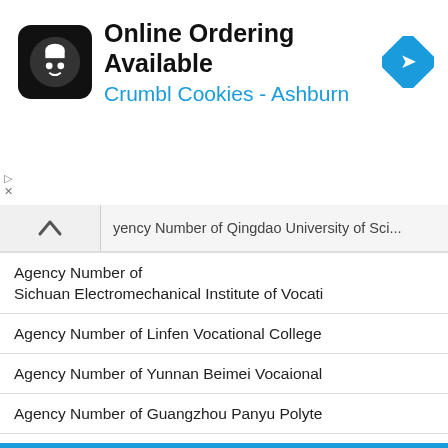[Figure (screenshot): Ad banner for Crumbl Cookies - Ashburn with Online Ordering Available text, cookie logo icon, and navigation diamond icon]
yency Number of Qingdao University of Sci...
Agency Number of Sichuan Electromechanical Institute of Vocati
Agency Number of Linfen Vocational College
Agency Number of Yunnan Beimei Vocaional
Agency Number of Guangzhou Panyu Polyte
Agency Number of SONGSHAN SHAOLIN VOCATIONAL WUSH